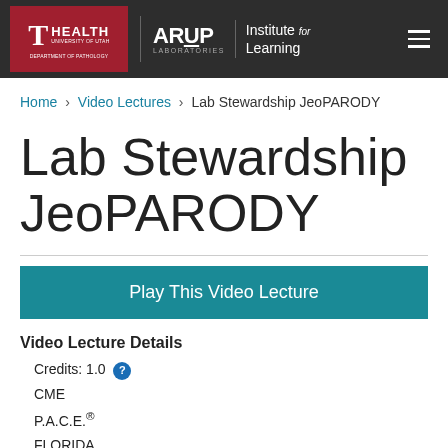[Figure (logo): University of Utah Health Department of Pathology and ARUP Laboratories Institute for Learning logos on dark header bar]
Home › Video Lectures › Lab Stewardship JeoPARODY
Lab Stewardship JeoPARODY
Play This Video Lecture
Video Lecture Details
  Credits: 1.0
  CME
  P.A.C.E.®
  FLORIDA
  Categories: